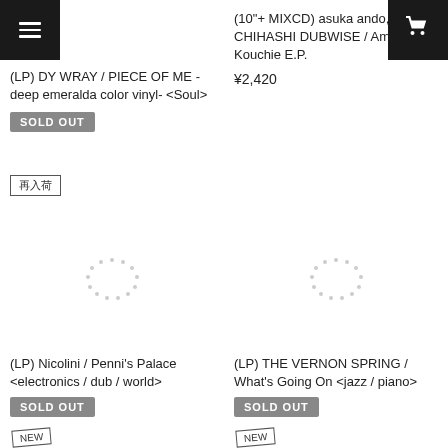[Figure (other): Hamburger menu icon button (dark background, top left)]
[Figure (other): Shopping cart icon button (dark background, top right)]
(LP) DY WRAY / PIECE OF ME -deep emeralda color vinyl- <Soul>
SOLD OUT
再入荷
(10"+ MIXCD) asuka ando, KEN CHIHASHI DUBWISE / Amai Hit Kouchie E.P.
¥2,420
[Figure (other): Loading spinner placeholder circle (dotted circle, left column)]
[Figure (other): Loading spinner placeholder circle (dotted circle, right column)]
(LP) Nicolini / Penni's Palace <electronics / dub / world>
SOLD OUT
NEW
(LP) THE VERNON SPRING / What's Going On <jazz / piano>
SOLD OUT
NEW